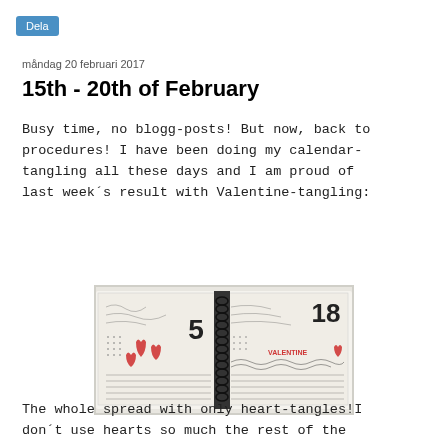Dela
måndag 20 februari 2017
15th - 20th of February
Busy time, no blogg-posts! But now, back to procedures! I have been doing my calendar-tangling all these days and I am proud of last week´s result with Valentine-tangling:
[Figure (photo): A spiral-bound calendar showing two open pages decorated with zentangle/doodle art including hearts and patterns in black ink with some red accents.]
The whole spread with only heart-tangles!I don´t use hearts so much the rest of the